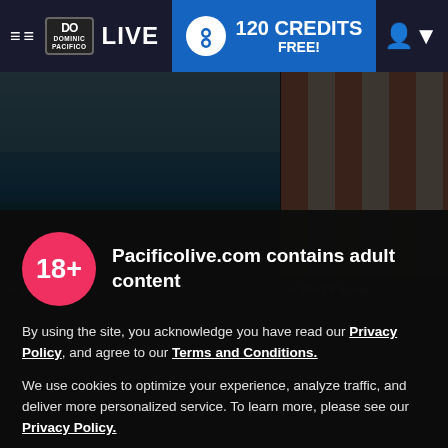≡≡ DOMINIC PACIFICO LIVE | 120 CREDITS FREE!
[Figure (screenshot): Two photo thumbnails side by side: left shows a muscular man at a pool, right shows a young man in a checkered bathroom. Name labels read 'Hari Divers' and 'Bart Parker'.]
18+
Pacificolive.com contains adult content
By using the site, you acknowledge you have read our Privacy Policy, and agree to our Terms and Conditions.
We use cookies to optimize your experience, analyze traffic, and deliver more personalized service. To learn more, please see our Privacy Policy.
I AGREE